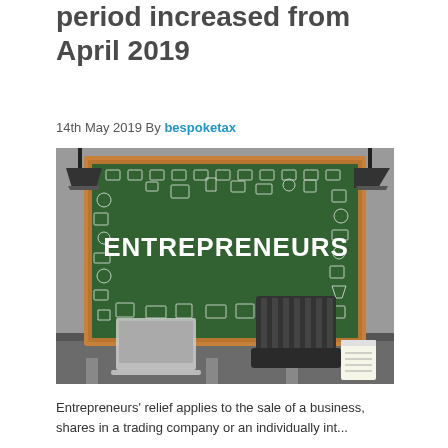period increased from April 2019
14th May 2019 By bespoketax
[Figure (photo): Photo of a chalkboard with the word ENTREPRENEURS written in chalk, surrounded by doodle icons of business and education items. In front of the chalkboard is a desk with a laptop and a black office chair.]
Entrepreneurs' relief applies to the sale of a business, shares in a trading company or an individually int...